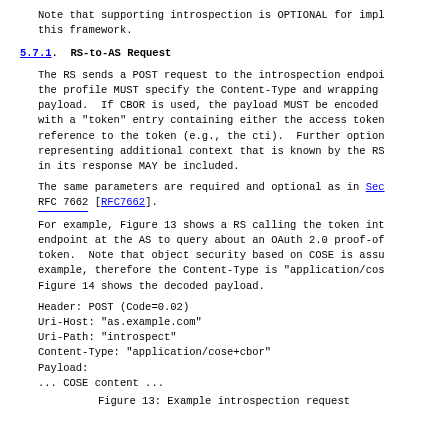Note that supporting introspection is OPTIONAL for impl this framework.
5.7.1.  RS-to-AS Request
The RS sends a POST request to the introspection endpoi the profile MUST specify the Content-Type and wrapping payload.  If CBOR is used, the payload MUST be encoded with a "token" entry containing either the access token reference to the token (e.g., the cti).  Further option representing additional context that is known by the RS in its response MAY be included.
The same parameters are required and optional as in Sec RFC 7662 [RFC7662].
For example, Figure 13 shows a RS calling the token int endpoint at the AS to query about an OAuth 2.0 proof-of token.  Note that object security based on COSE is assu example, therefore the Content-Type is "application/cos Figure 14 shows the decoded payload.
Header: POST (Code=0.02)
Uri-Host: "as.example.com"
Uri-Path: "introspect"
Content-Type: "application/cose+cbor"
Payload:
... COSE content ...
Figure 13: Example introspection request